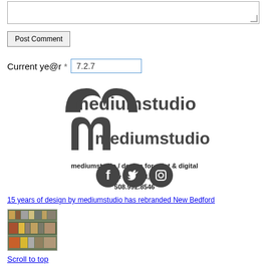[Figure (screenshot): Textarea input box (empty, with resize handle)]
Post Comment (button)
Current ye@r * 7.2.7
[Figure (logo): mediumstudio logo with stylized 'm' icon and text. Below: mediumstudio / design for print & digital, new bedford, ma, 508.992.8546]
[Figure (other): Three dark circular social media icons: Facebook, Twitter, Instagram]
15 years of design by mediumstudio has rebranded New Bedford
[Figure (photo): Thumbnail photo of shelves with stacked items/folders]
Scroll to top